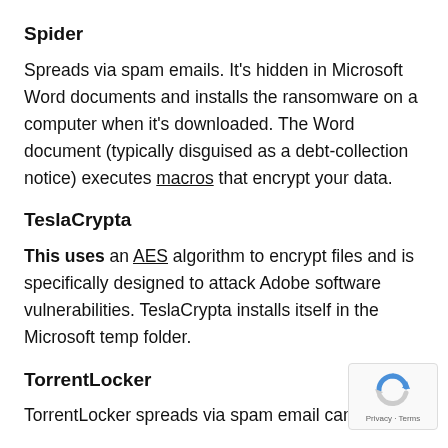Spider
Spreads via spam emails. It's hidden in Microsoft Word documents and installs the ransomware on a computer when it's downloaded. The Word document (typically disguised as a debt-collection notice) executes macros that encrypt your data.
TeslaCrypta
This uses an AES algorithm to encrypt files and is specifically designed to attack Adobe software vulnerabilities. TeslaCrypta installs itself in the Microsoft temp folder.
TorrentLocker
TorrentLocker spreads via spam email campaigns